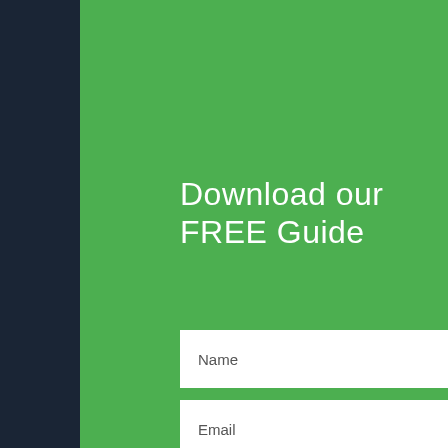Download our FREE Guide
Name
Email
Phone Number